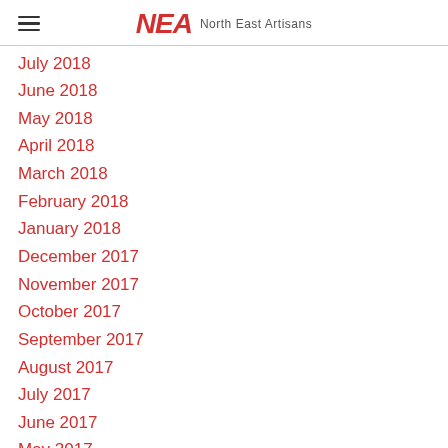NEA North East Artisans
July 2018
June 2018
May 2018
April 2018
March 2018
February 2018
January 2018
December 2017
November 2017
October 2017
September 2017
August 2017
July 2017
June 2017
May 2017
April 2017
March 2017
[Figure (logo): TrustedSite Certified Secure badge]